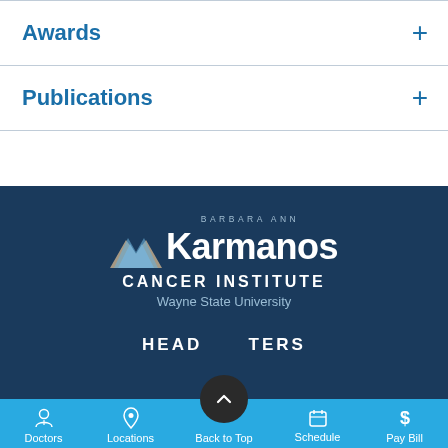Awards
Publications
[Figure (logo): Barbara Ann Karmanos Cancer Institute, Wayne State University logo on dark blue background]
HEADQUARTERS
Doctors  Locations  Back to Top  Schedule  Pay Bill